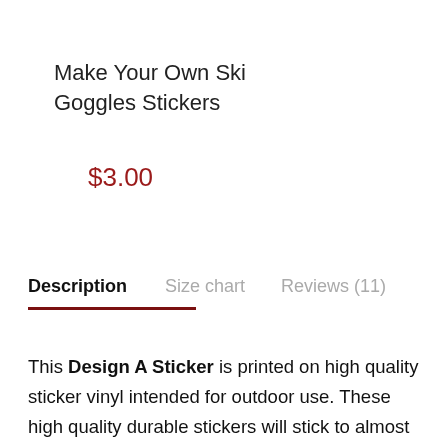Make Your Own Ski Goggles Stickers
$3.00
Description   Size chart   Reviews (11)
This Design A Sticker is printed on high quality sticker vinyl intended for outdoor use. These high quality durable stickers will stick to almost any clean flat surface indoors or outdoors. Buy this